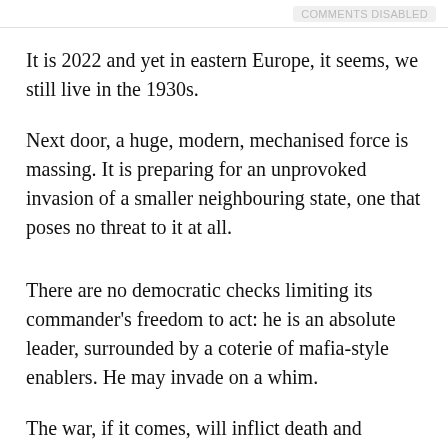COMMENTS DISABLED
It is 2022 and yet in eastern Europe, it seems, we still live in the 1930s.
Next door, a huge, modern, mechanised force is massing. It is preparing for an unprovoked invasion of a smaller neighbouring state, one that poses no threat to it at all.
There are no democratic checks limiting its commander's freedom to act: he is an absolute leader, surrounded by a coterie of mafia-style enablers. He may invade on a whim.
The war, if it comes, will inflict death and destruction on millions of innocent civilians in order to bring that leader some minor historic advantage.